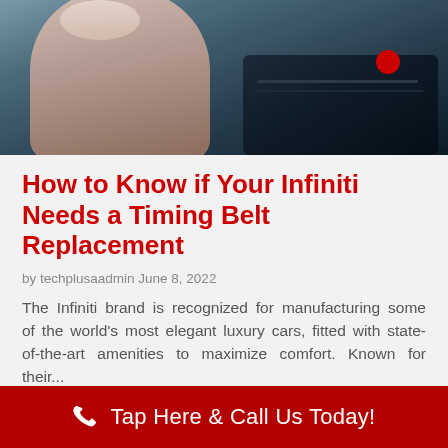[Figure (photo): A woman looking under the hood of a car, automotive repair scene with a dark vehicle visible in the background]
How to Know if Your Infiniti Needs a Timing Belt Replacement
by techplusaadmin June 8, 2022
The Infiniti brand is recognized for manufacturing some of the world's most elegant luxury cars, fitted with state-of-the-art amenities to maximize comfort. Known for their...
Read More
Tap Here & Call Us Today!